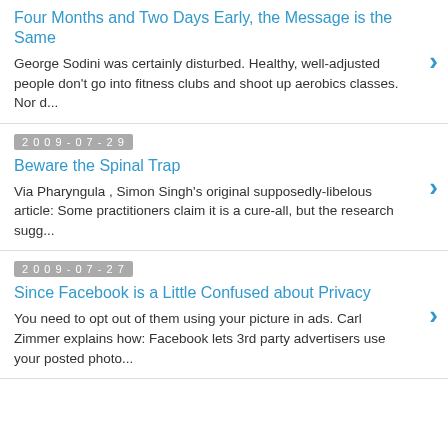Four Months and Two Days Early, the Message is the Same
George Sodini was certainly disturbed. Healthy, well-adjusted people don't go into fitness clubs and shoot up aerobics classes. Nor d...
2009-07-29
Beware the Spinal Trap
Via Pharyngula , Simon Singh's original supposedly-libelous article: Some practitioners claim it is a cure-all, but the research sugg...
2009-07-27
Since Facebook is a Little Confused about Privacy
You need to opt out of them using your picture in ads. Carl Zimmer explains how: Facebook lets 3rd party advertisers use your posted photo...